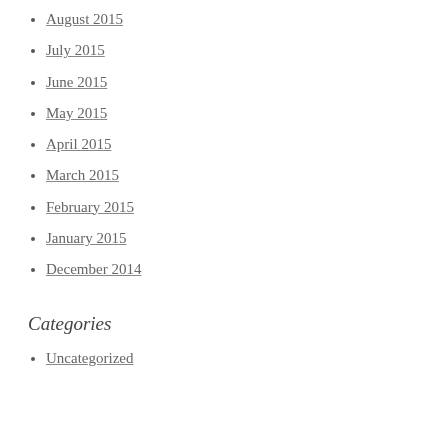August 2015
July 2015
June 2015
May 2015
April 2015
March 2015
February 2015
January 2015
December 2014
Categories
Uncategorized